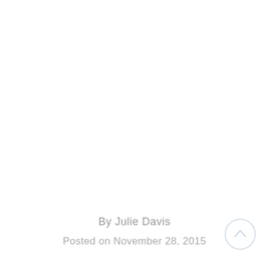By Julie Davis
Posted on November 28, 2015